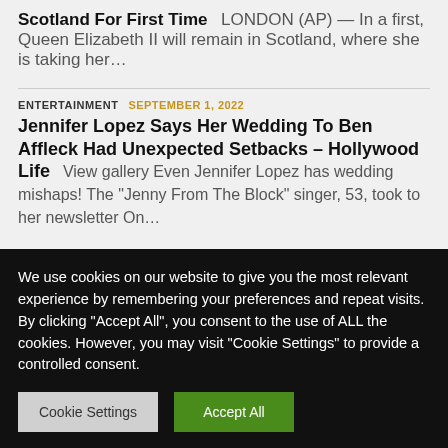Scotland For First Time
LONDON (AP) — In a first, Queen Elizabeth II will remain in Scotland, where she is taking her...
ENTERTAINMENT   SEPTEMBER 1, 2022
Jennifer Lopez Says Her Wedding To Ben Affleck Had Unexpected Setbacks – Hollywood Life
View gallery Even Jennifer Lopez has wedding mishaps! The "Jenny From The Block" singer, 53, took to her newsletter On...
We use cookies on our website to give you the most relevant experience by remembering your preferences and repeat visits. By clicking "Accept All", you consent to the use of ALL the cookies. However, you may visit "Cookie Settings" to provide a controlled consent.